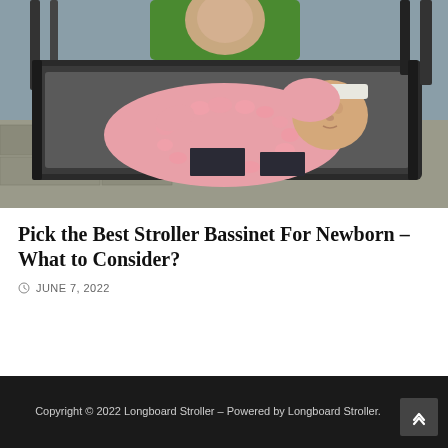[Figure (photo): A newborn baby in a pink fleece bunny suit lying in a dark stroller bassinet attachment, with an older child in a green jacket visible behind, outdoors on a stone surface.]
Pick the Best Stroller Bassinet For Newborn – What to Consider?
JUNE 7, 2022
Copyright © 2022 Longboard Stroller – Powered by Longboard Stroller.